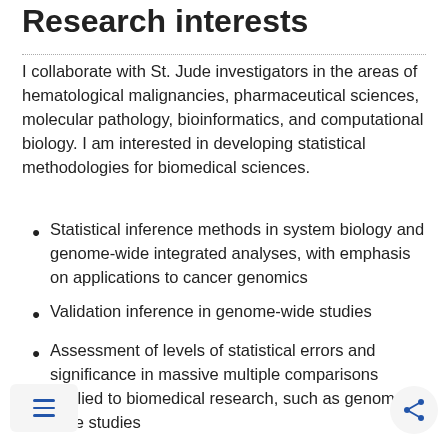Research interests
I collaborate with St. Jude investigators in the areas of hematological malignancies, pharmaceutical sciences, molecular pathology, bioinformatics, and computational biology. I am interested in developing statistical methodologies for biomedical sciences.
Statistical inference methods in system biology and genome-wide integrated analyses, with emphasis on applications to cancer genomics
Validation inference in genome-wide studies
Assessment of levels of statistical errors and significance in massive multiple comparisons applied to biomedical research, such as genome-wide studies